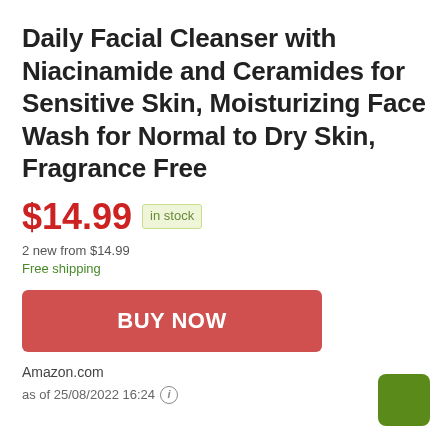Daily Facial Cleanser with Niacinamide and Ceramides for Sensitive Skin, Moisturizing Face Wash for Normal to Dry Skin, Fragrance Free
$14.99 in stock
2 new from $14.99
Free shipping
BUY NOW
Amazon.com
as of 25/08/2022 16:24